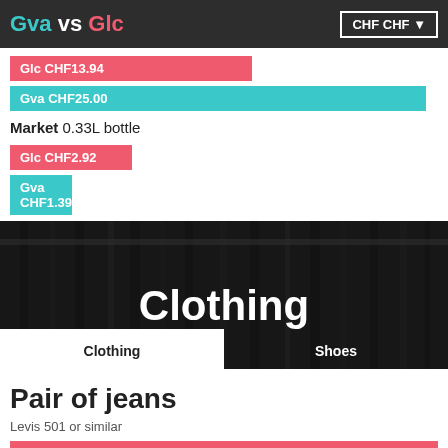Gva vs Glc | CHF CHF
[Figure (bar-chart): Water (restaurant) prices Gva vs Glc]
Market 0.33L bottle
[Figure (bar-chart): Market 0.33L bottle prices Gva vs Glc]
[Figure (photo): Dark background photo of clothing hanging on racks]
Clothing
Clothing | Shoes
Pair of jeans
Levis 501 or similar